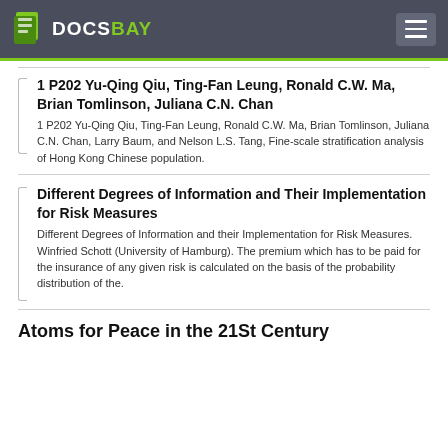DOCSBAY
1 P202 Yu-Qing Qiu, Ting-Fan Leung, Ronald C.W. Ma, Brian Tomlinson, Juliana C.N. Chan
1 P202 Yu-Qing Qiu, Ting-Fan Leung, Ronald C.W. Ma, Brian Tomlinson, Juliana C.N. Chan, Larry Baum, and Nelson L.S. Tang, Fine-scale stratification analysis of Hong Kong Chinese population.
Different Degrees of Information and Their Implementation for Risk Measures
Different Degrees of Information and their Implementation for Risk Measures. Winfried Schott (University of Hamburg). The premium which has to be paid for the insurance of any given risk is calculated on the basis of the probability distribution of the.
Atoms for Peace in the 21St Century